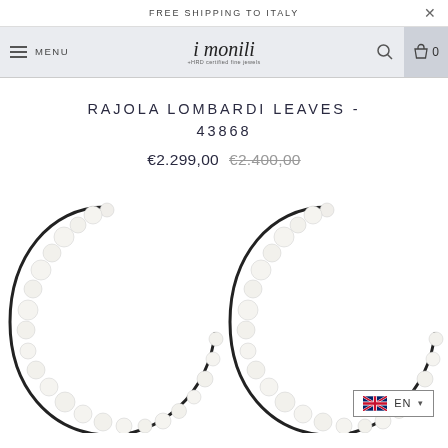FREE SHIPPING TO ITALY
[Figure (screenshot): Navigation bar with hamburger menu, i monili logo, search icon, and cart icon showing 0 items]
RAJOLA LOMBARDI LEAVES - 43868
€2.299,00 €2.400,00 (strikethrough)
[Figure (photo): Two pearl hoop earrings with white freshwater pearls of varying sizes arranged along a dark metal hoop frame, shown from above against white background]
[Figure (other): Language selector widget showing UK flag and EN dropdown]